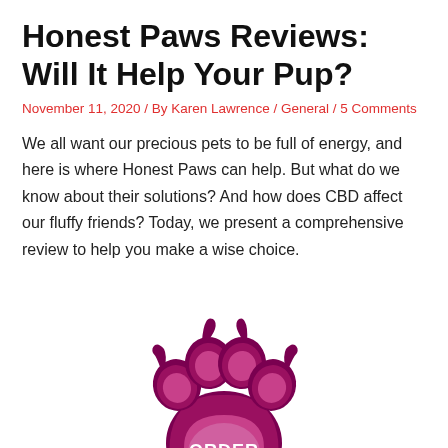Honest Paws Reviews: Will It Help Your Pup?
November 11, 2020 / By Karen Lawrence / General / 5 Comments
We all want our precious pets to be full of energy, and here is where Honest Paws can help. But what do we know about their solutions? And how does CBD affect our fluffy friends? Today, we present a comprehensive review to help you make a wise choice.
[Figure (illustration): A paw print graphic in dark magenta/purple with lighter pink toe pads and a banner reading ORDER NOW in white bold text on the main pad.]